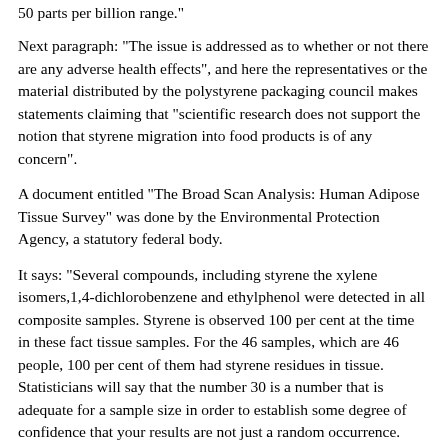50 parts per billion range."
Next paragraph: "The issue is addressed as to whether or not there are any adverse health effects", and here the representatives or the material distributed by the polystyrene packaging council makes statements claiming that "scientific research does not support the notion that styrene migration into food products is of any concern".
A document entitled "The Broad Scan Analysis: Human Adipose Tissue Survey" was done by the Environmental Protection Agency, a statutory federal body.
It says: "Several compounds, including styrene the xylene isomers,1,4-dichlorobenzene and ethylphenol were detected in all composite samples. Styrene is observed 100 per cent at the time in these fact tissue samples. For the 46 samples, which are 46 people, 100 per cent of them had styrene residues in tissue. Statisticians will say that the number 30 is a number that is adequate for a sample size in order to establish some degree of confidence that your results are not just a random occurrence. Here we have a 100 per cent record in any case.
The question arises from this type of research, that if there is this kind of contamination in human fat tissue in the United States might it be caused by or associated with in any way the use of styrene foam products for food and beverages, and the answer